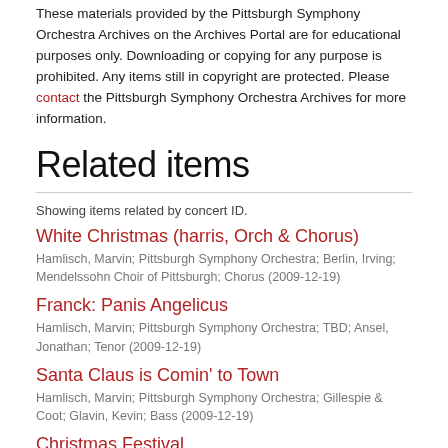These materials provided by the Pittsburgh Symphony Orchestra Archives on the Archives Portal are for educational purposes only. Downloading or copying for any purpose is prohibited. Any items still in copyright are protected. Please contact the Pittsburgh Symphony Orchestra Archives for more information.
Related items
Showing items related by concert ID.
White Christmas (harris, Orch & Chorus)
Hamlisch, Marvin; Pittsburgh Symphony Orchestra; Berlin, Irving; Mendelssohn Choir of Pittsburgh; Chorus (2009-12-19)
Franck: Panis Angelicus
Hamlisch, Marvin; Pittsburgh Symphony Orchestra; TBD; Ansel, Jonathan; Tenor (2009-12-19)
Santa Claus is Comin' to Town
Hamlisch, Marvin; Pittsburgh Symphony Orchestra; Gillespie & Coot; Glavin, Kevin; Bass (2009-12-19)
Christmas Festival